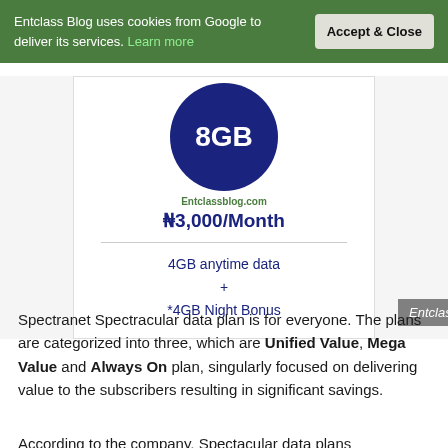Entclass Blog uses cookies from Google to deliver its services. Learn more
[Figure (screenshot): 8GB data plan card showing a dark blue circle with '8GB', price N3,000/Month, and details: 4GB anytime data + *4GB Night Bonus. Entclassblog.com watermarks visible.]
Spectranet Spectracular data plan is for everyone. The plans are categorized into three, which are Unified Value, Mega Value and Always On plan, singularly focused on delivering value to the subscribers resulting in significant savings.
According to the company, Spectacular data plans